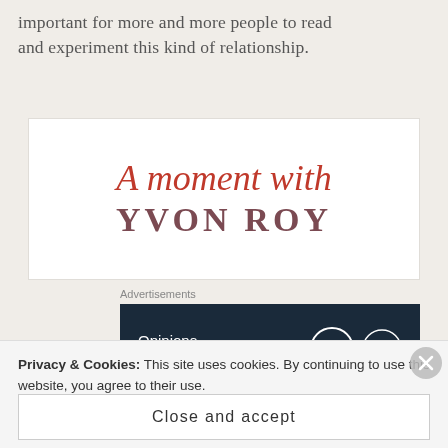important for more and more people to read and experiment this kind of relationship.
[Figure (logo): A moment with Yvon Roy – script and serif logo on white background]
Advertisements
[Figure (screenshot): Advertisement banner: 'Opinions. We all have them!' with WordPress and forum logos on dark navy background]
I was very excited to learn that Mr. Roy lives in
Privacy & Cookies: This site uses cookies. By continuing to use this website, you agree to their use.
To find out more, including how to control cookies, see here: Cookie Policy
Close and accept